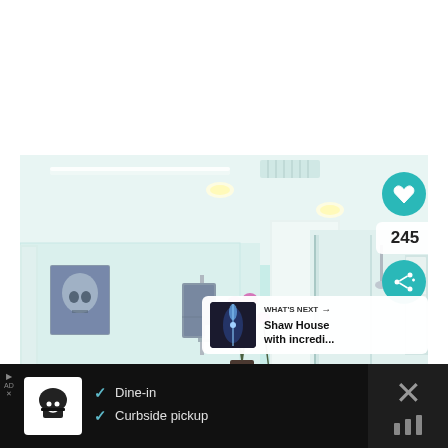[Figure (photo): Modern white bathroom interior with vanity, double sinks with chrome faucets, large mirror, gray towels hanging, orchid flowers, walk-in shower with glass doors, wall art of a skull, recessed lighting, and bright white walls and ceiling. UI overlays include a teal heart/favorite button, share button, count badge showing 245, and a 'What's Next' card showing 'Shaw House with incredi...' preview.]
WHAT'S NEXT → Shaw House with incredi...
✓ Dine-in
✓ Curbside pickup